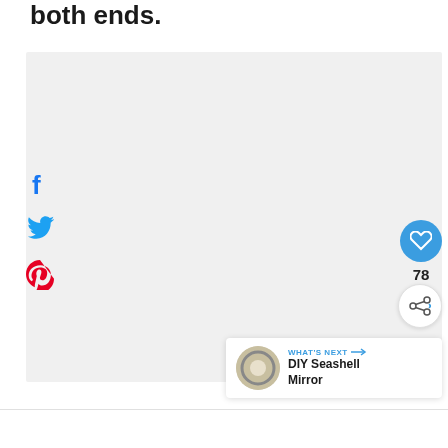both ends.
[Figure (photo): Large light gray placeholder image area]
[Figure (infographic): Social sharing sidebar with Facebook, Twitter, and Pinterest icons on the left side of the image]
[Figure (infographic): Heart/like button (blue circle) with count 78, and share button (white circle) on the right side]
78
[Figure (infographic): What's Next panel with thumbnail of DIY Seashell Mirror and arrow]
WHAT'S NEXT → DIY Seashell Mirror